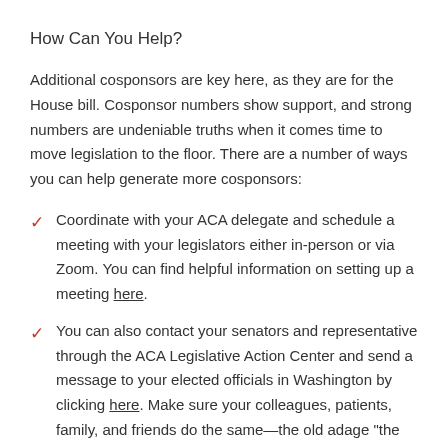How Can You Help?
Additional cosponsors are key here, as they are for the House bill. Cosponsor numbers show support, and strong numbers are undeniable truths when it comes time to move legislation to the floor. There are a number of ways you can help generate more cosponsors:
Coordinate with your ACA delegate and schedule a meeting with your legislators either in-person or via Zoom. You can find helpful information on setting up a meeting here.
You can also contact your senators and representative through the ACA Legislative Action Center and send a message to your elected officials in Washington by clicking here. Make sure your colleagues, patients, family, and friends do the same—the old adage “the